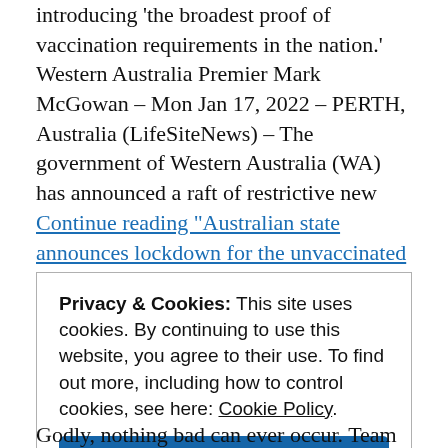introducing 'the broadest proof of vaccination requirements in the nation.' Western Australia Premier Mark McGowan – Mon Jan 17, 2022 – PERTH, Australia (LifeSiteNews) – The government of Western Australia (WA) has announced a raft of restrictive new Continue reading "Australian state announces lockdown for the unvaccinated that could last 'for years to come"'
Privacy & Cookies: This site uses cookies. By continuing to use this website, you agree to their use. To find out more, including how to control cookies, see here: Cookie Policy
Close and accept
Godly, nothing bad can ever occur. Team Reality